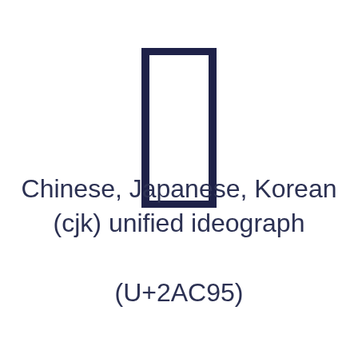[Figure (illustration): A CJK unified ideograph character rendered as a large outlined glyph: a tall rectangle shape with thick dark navy-blue strokes, resembling the Unicode character U+2AC95.]
Chinese, Japanese, Korean (cjk) unified ideograph (U+2AC95)